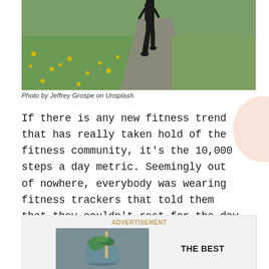[Figure (photo): Person walking on a path surrounded by green grass and yellow dandelions, wearing black athletic clothing, viewed from behind.]
Photo by Jeffrey Grospe on Unsplash
If there is any new fitness trend that has really taken hold of the fitness community, it's the 10,000 steps a day metric. Seemingly out of nowhere, everybody was wearing fitness trackers that told them that they couldn't rest for the day until they'd gotten 10,000 steps, about five miles of walking, in.
[Figure (other): Advertisement block showing a photo of mint herbs with a straw in a glass on the left, and bold text 'THE BEST' on the right, on a grey background.]